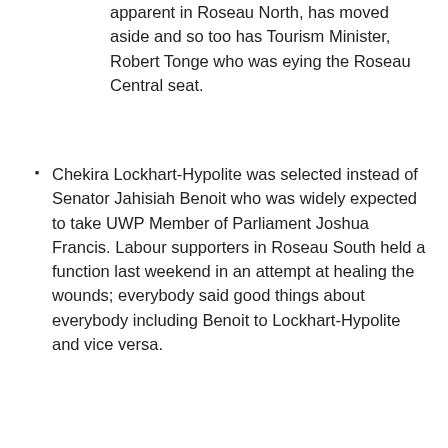apparent in Roseau North, has moved aside and so too has Tourism Minister, Robert Tonge who was eying the Roseau Central seat.
Chekira Lockhart-Hypolite was selected instead of Senator Jahisiah Benoit who was widely expected to take UWP Member of Parliament Joshua Francis. Labour supporters in Roseau South held a function last weekend in an attempt at healing the wounds; everybody said good things about everybody including Benoit to Lockhart-Hypolite and vice versa.
Dr. Irvin McIntyre, a medical doctor, will hand over to his brother, Dr. Colin McIntyre, a veterinarian, in the Roseau Valley.
Octavia Alfred is to run in Castle Bruce replacing Member of Parliament Johnson Drigo, the housing minister.
Fidel Grant, despite an intervention from his uncle, former